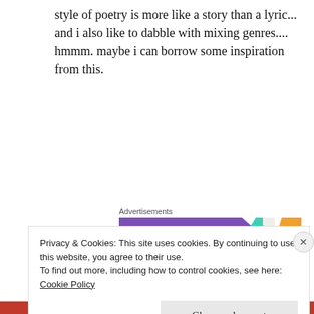style of poetry is more like a story than a lyric... and i also like to dabble with mixing genres.... hmmm. maybe i can borrow some inspiration from this.
[Figure (other): Advertisement banner with purple, teal, grey, and orange sections]
now...if my children would just let me create something other than more children!
Privacy & Cookies: This site uses cookies. By continuing to use this website, you agree to their use.
To find out more, including how to control cookies, see here: Cookie Policy
Close and accept